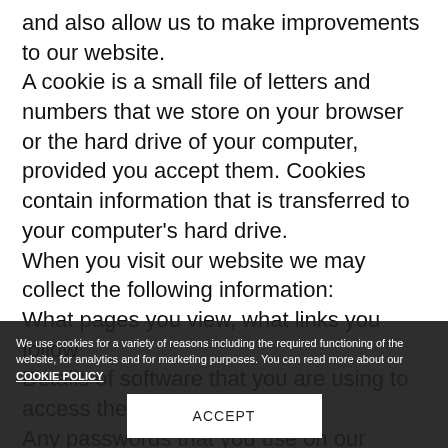and also allow us to make improvements to our website. A cookie is a small file of letters and numbers that we store on your browser or the hard drive of your computer, provided you accept them. Cookies contain information that is transferred to your computer's hard drive. When you visit our website we may collect the following information: What pages you view, what links you follow Details of software that you are using to access the site Any passwords that you use on our
We use cookies for a variety of reasons including the required functioning of the website, for analytics and for marketing purposes. You can read more about our COOKIE POLICY
ACCEPT